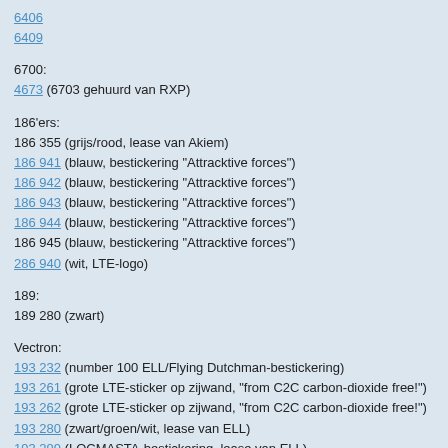6406
6409
6700:
4673 (6703 gehuurd van RXP)
186'ers:
186 355 (grijs/rood, lease van Akiem)
186 941 (blauw, bestickering "Attracktive forces")
186 942 (blauw, bestickering "Attracktive forces")
186 943 (blauw, bestickering "Attracktive forces")
186 944 (blauw, bestickering "Attracktive forces")
186 945 (blauw, bestickering "Attracktive forces")
286 940 (wit, LTE-logo)
189:
189 280 (zwart)
Vectron:
193 232 (number 100 ELL/Flying Dutchman-bestickering)
193 261 (grote LTE-sticker op zijwand, "from C2C carbon-dioxide free!")
193 262 (grote LTE-sticker op zijwand, "from C2C carbon-dioxide free!")
193 280 (zwart/groen/wit, lease van ELL)
193 299 (LOCMASTA-bestickering, lease van ELL)